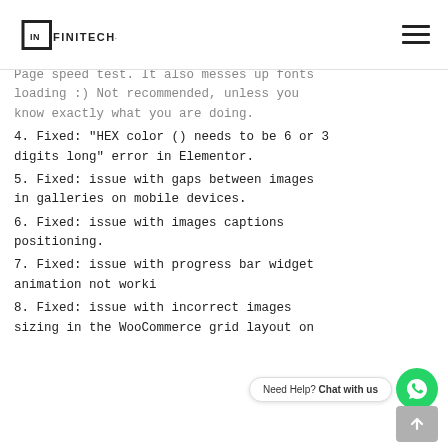INFINITECH logo and hamburger menu
Page speed test. It also messes up fonts loading :) Not recommended, unless you know exactly what you are doing.
4. Fixed: "HEX color () needs to be 6 or 3 digits long" error in Elementor.
5. Fixed: issue with gaps between images in galleries on mobile devices.
6. Fixed: issue with images captions positioning.
7. Fixed: issue with progress bar widget animation not worki
8. Fixed: issue with incorrect images sizing in the WooCommerce grid layout on